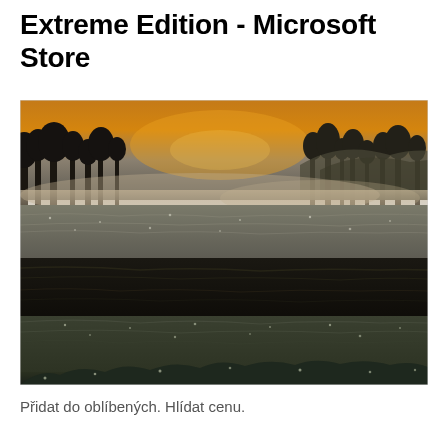Extreme Edition - Microsoft Store
[Figure (photo): A misty winter landscape photograph showing frost-covered grass fields with a dark plowed soil strip in the middle, bare trees silhouetted against a warm golden-orange sky in the background, with low-lying mist hovering over the fields.]
Přidat do oblíbených. Hlídat cenu.